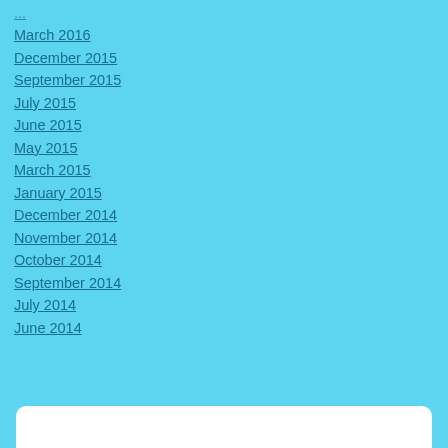March 2016
December 2015
September 2015
July 2015
June 2015
May 2015
March 2015
January 2015
December 2014
November 2014
October 2014
September 2014
July 2014
June 2014